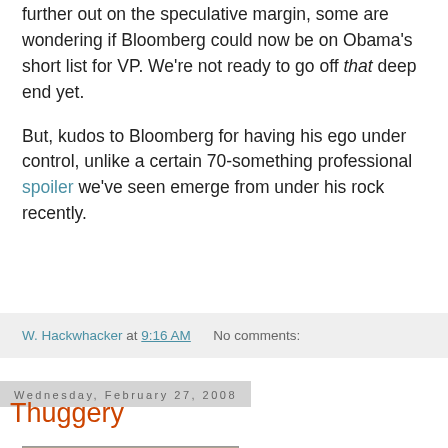further out on the speculative margin, some are wondering if Bloomberg could now be on Obama's short list for VP. We're not ready to go off that deep end yet.
But, kudos to Bloomberg for having his ego under control, unlike a certain 70-something professional spoiler we've seen emerge from under his rock recently.
W. Hackwhacker at 9:16 AM    No comments:
Wednesday, February 27, 2008
Thuggery
[Figure (photo): Man in radio studio wearing headphones and white shirt, smiling and pointing upward with one finger. WLW radio station logo visible.]
While we're on thuggish "conservatives," we fear this pinhead is closer to the Rethuglican mainstream than some would like to admit. Why do we say that? After those...